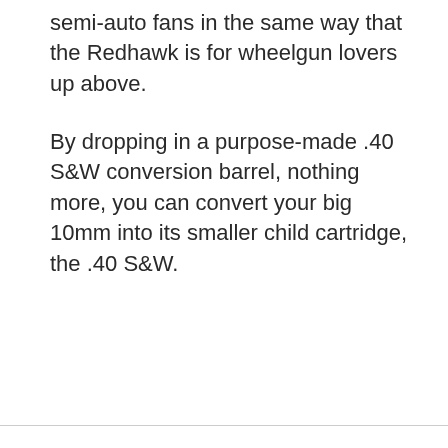semi-auto fans in the same way that the Redhawk is for wheelgun lovers up above.
By dropping in a purpose-made .40 S&W conversion barrel, nothing more, you can convert your big 10mm into its smaller child cartridge, the .40 S&W.